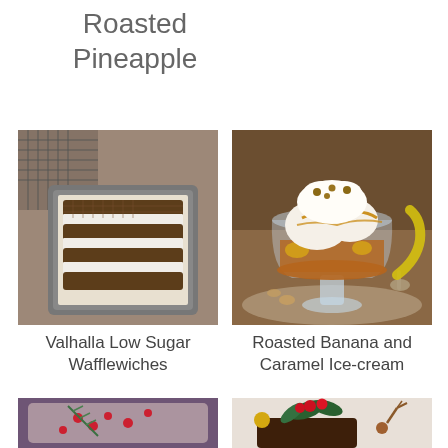Roasted Pineapple
[Figure (photo): Overhead view of waffle ice cream sandwiches stacked in a metal loaf pan with parchment paper]
Valhalla Low Sugar Wafflewiches
[Figure (photo): Glass dessert cup filled with roasted banana and caramel ice cream topped with whipped cream and nuts]
Roasted Banana and Caramel Ice-cream
[Figure (photo): Baked dish with berries and herbs garnished with rosemary and cranberries]
[Figure (photo): Dark chocolate dessert topped with red berries and green holly leaves]